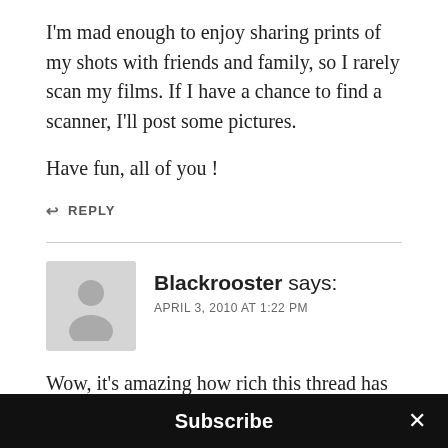I'm mad enough to enjoy sharing prints of my shots with friends and family, so I rarely scan my films. If I have a chance to find a scanner, I'll post some pictures.
Have fun, all of you!
↩ REPLY
Blackrooster says:
APRIL 3, 2010 AT 1:22 PM
Wow, it's amazing how rich this thread has become and how long it's continuing...film!
Here's a thought, I'm very close with a few peopl…
Subscribe